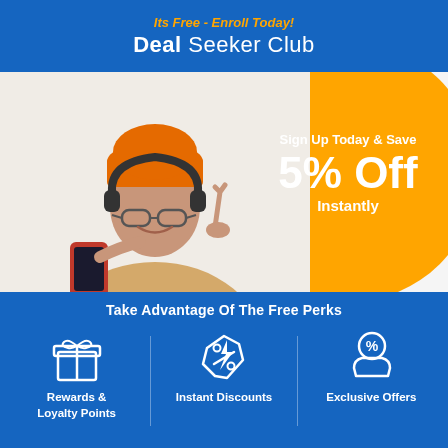Its Free - Enroll Today! Deal Seeker Club
[Figure (photo): Young woman with orange beanie hat and headphones, holding a phone and making a peace sign, smiling. Behind her is an orange circle graphic with promotional text: Sign Up Today & Save 5% Off Instantly.]
Take Advantage Of The Free Perks
Rewards & Loyalty Points
Instant Discounts
Exclusive Offers